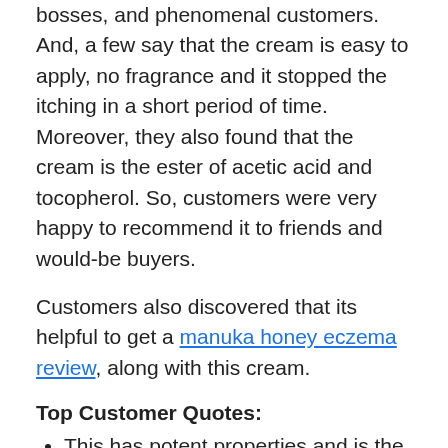bosses, and phenomenal customers. And, a few say that the cream is easy to apply, no fragrance and it stopped the itching in a short period of time. Moreover, they also found that the cream is the ester of acetic acid and tocopherol. So, customers were very happy to recommend it to friends and would-be buyers.
Customers also discovered that its helpful to get a manuka honey eczema review, along with this cream.
Top Customer Quotes:
This has potent properties and is the most active honey on earth.
This is certainly better than trying another steroid.
This is great for allergy hives too.